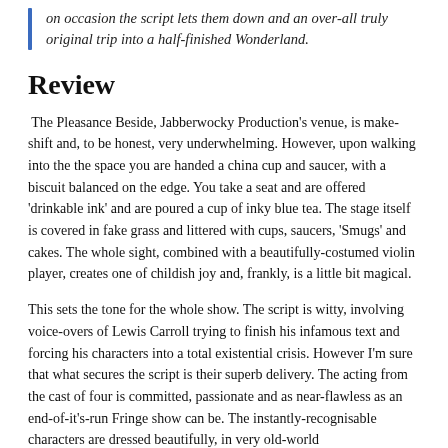on occasion the script lets them down and an over-all truly original trip into a half-finished Wonderland.
Review
The Pleasance Beside, Jabberwocky Production's venue, is make-shift and, to be honest, very underwhelming. However, upon walking into the the space you are handed a china cup and saucer, with a biscuit balanced on the edge. You take a seat and are offered 'drinkable ink' and are poured a cup of inky blue tea. The stage itself is covered in fake grass and littered with cups, saucers, 'Smugs' and cakes. The whole sight, combined with a beautifully-costumed violin player, creates one of childish joy and, frankly, is a little bit magical.
This sets the tone for the whole show. The script is witty, involving voice-overs of Lewis Carroll trying to finish his infamous text and forcing his characters into a total existential crisis. However I'm sure that what secures the script is their superb delivery. The acting from the cast of four is committed, passionate and as near-flawless as an end-of-it's-run Fringe show can be. The instantly-recognisable characters are dressed beautifully, in very old-world